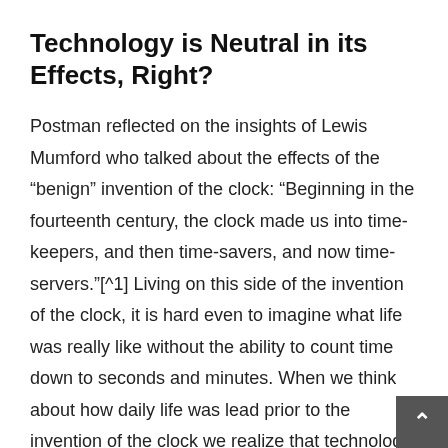Technology is Neutral in its Effects, Right?
Postman reflected on the insights of Lewis Mumford who talked about the effects of the “benign” invention of the clock: “Beginning in the fourteenth century, the clock made us into time-keepers, and then time-savers, and now time-servers.”[^1] Living on this side of the invention of the clock, it is hard even to imagine what life was really like without the ability to count time down to seconds and minutes. When we think about how daily life was lead prior to the invention of the clock we realize that technology changes the way we and, yes, the way we think. Technology can sha…